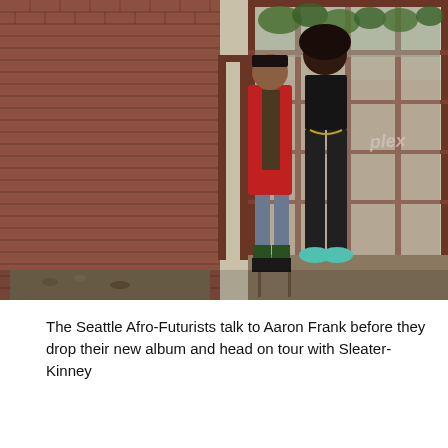[Figure (photo): Two people standing in an abandoned greenhouse with red iron frame, brick walls, and overgrown greenery. Person on the left wears a red cardigan over a graphic tee with denim shorts and patterned socks with boots. Person on the right wears a black crop top and black pants with light blue sneakers. Graffiti visible on walls.]
The Seattle Afro-Futurists talk to Aaron Frank before they drop their new album and head on tour with Sleater-Kinney